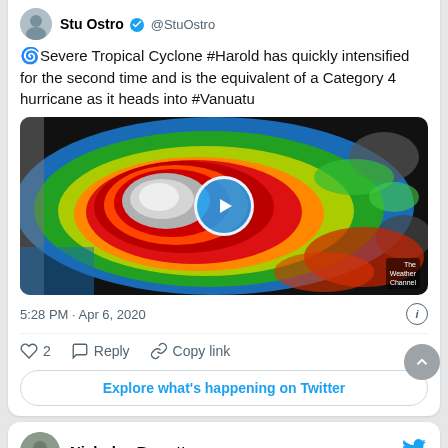Stu Ostro @StuOstro
🌀Severe Tropical Cyclone #Harold has quickly intensified for the second time and is the equivalent of a Category 4 hurricane as it heads into #Vanuatu
[Figure (photo): Satellite radar image of Severe Tropical Cyclone Harold showing the eye of the storm with colorized intensity bands (red/orange/green/blue) from The Weather Channel, with a video play button overlay]
5:28 PM · Apr 6, 2020
♡ 2  Reply  Copy link
Explore what's happening on Twitter
Nicholas Barretto